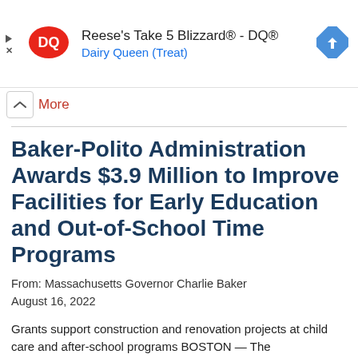[Figure (other): Dairy Queen advertisement banner with DQ logo, text 'Reese's Take 5 Blizzard® - DQ®' and 'Dairy Queen (Treat)', navigation arrow icon, and ad controls (play and close buttons)]
More
Baker-Polito Administration Awards $3.9 Million to Improve Facilities for Early Education and Out-of-School Time Programs
From: Massachusetts Governor Charlie Baker
August 16, 2022
Grants support construction and renovation projects at child care and after-school programs BOSTON — The